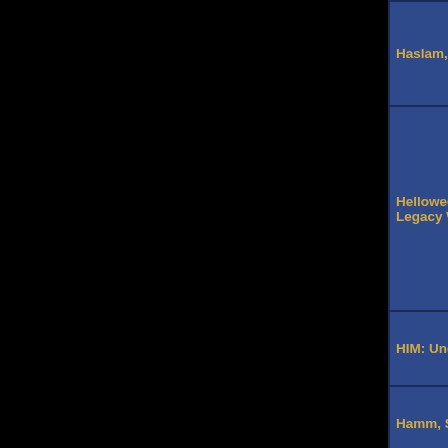| Album | Reviewer | Rating | Score |
| --- | --- | --- | --- |
| Haslam, Annie: Woman Transcending | Pete Pardo | ★★★★ | 5650 |
| Helloween: Keeper Of The Seven Keys- The Legacy World Tour 05/06 Live In Sao Paulo † | Ken Pierce | ★★★★ | 2291 |
| HIM: Uneasy Listening Vol. I | Ken Pierce | ★★★★ | 1906 |
| Hamm, Stuart: Live Stu X 2 | Michael Popke | ★★★★ | 3158 |
| Hidden Hand, The: The Resurrection of Whiskey Foote | Pete Pardo | ★★★★ | 2847 |
| Helvacioglu, Erdem: Altered Realities | Murat Batmaz | ★★★★ | 2628 |
| HIM: And Love Said No ◆ The Greatest Hits 1997-2004 | Ken Pierce | ★★★★ | 2305 |
| Heavy Pettin: Prodigal Songs | Michael Popke | ★★★★ | 3887 |
| Harris, Michael: Orchestra... | Scott ... | ★★★★ | 4437 |